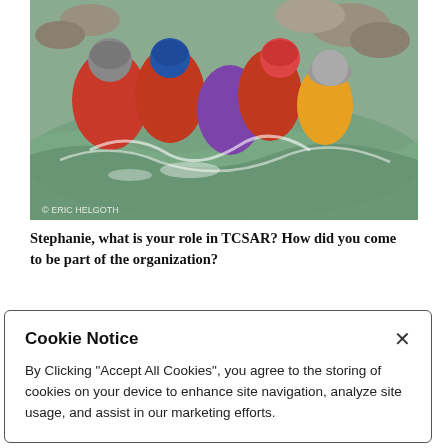[Figure (photo): Photo of several people in red and orange life vests and helmets performing a swift water rescue in a rocky river. Copyright watermark reads '© ERIC HELGOTH' in lower left.]
Stephanie, what is your role in TCSAR? How did you come to be part of the organization?
“I have been a volunteer for TCSAR since 2007. My first
Cookie Notice
By Clicking "Accept All Cookies", you agree to the storing of cookies on your device to enhance site navigation, analyze site usage, and assist in our marketing efforts.